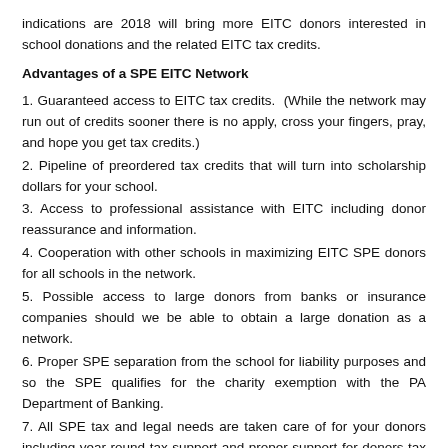indications are 2018 will bring more EITC donors interested in school donations and the related EITC tax credits.
Advantages of a SPE EITC Network
1. Guaranteed access to EITC tax credits.  (While the network may run out of credits sooner there is no apply, cross your fingers, pray, and hope you get tax credits.)
2. Pipeline of preordered tax credits that will turn into scholarship dollars for your school.
3. Access to professional assistance with EITC including donor reassurance and information.
4. Cooperation with other schools in maximizing EITC SPE donors for all schools in the network.
5. Possible access to large donors from banks or insurance companies should we be able to obtain a large donation as a network.
6. Proper SPE separation from the school for liability purposes and so the SPE qualifies for the charity exemption with the PA Department of Banking.
7. All SPE tax and legal needs are taken care of for your donors including year round tax support and proper support for donors tax accountants.